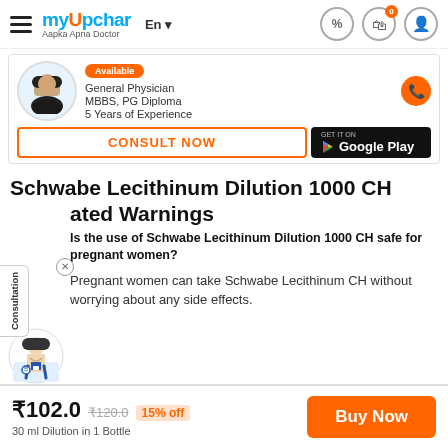myUpchar — Aapka Apna Doctor
[Figure (screenshot): Doctor card showing a General Physician with MBBS, PG Diploma, 5 Years of Experience, with Consult Now button and Google Play button]
Schwabe Lecithinum Dilution 1000 CH ated Warnings
Is the use of Schwabe Lecithinum Dilution 1000 CH safe for pregnant women?
Pregnant women can take Schwabe Lecithinum CH without worrying about any side effects.
₹102.0  ₹120.0  15% off
30 ml Dilution in 1 Bottle